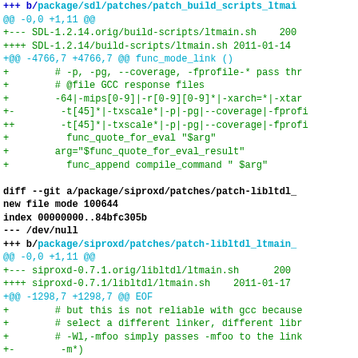diff --git a/package/sdl/patches/patch_build_scripts_ltmain_ (truncated)
@@ -0,0 +1,11 @@
+--- SDL-1.2.14.orig/build-scripts/ltmain.sh   200
++++ SDL-1.2.14/build-scripts/ltmain.sh 2011-01-14
+@@ -4766,7 +4766,7 @@ func_mode_link ()
+        # -p, -pg, --coverage, -fprofile-* pass thr
+        # @file GCC response files
+        -64|-mips[0-9]|-r[0-9][0-9]*|-xarch=*|-xtar
+-        -t[45]*|-txscale*|-p|-pg|--coverage|-fprofi
++        -t[45]*|-txscale*|-p|-pg|--coverage|-fprofi
+          func_quote_for_eval "$arg"
+        arg="$func_quote_for_eval_result"
+          func_append compile_command " $arg"
diff --git a/package/siproxd/patches/patch-libltdl_
new file mode 100644
index 00000000..84bfc305b
--- /dev/null
+++ b/package/siproxd/patches/patch-libltdl_ltmain_
@@ -0,0 +1,11 @@
+--- siproxd-0.7.1.orig/libltdl/ltmain.sh      200
++++ siproxd-0.7.1/libltdl/ltmain.sh    2011-01-17
+@@ -1298,7 +1298,7 @@ EOF
+        # but this is not reliable with gcc because
+        # select a different linker, different libr
+        # -Wl,-mfoo simply passes -mfoo to the link
+-        -m*)
++        -m*|-fstack-protector*|-flto)
+        # Unknown arguments in both finalize_comman
+        # to be aesthetically quoted because they a
+        arg=`$echo "Y$arg" | $Xsed -e "$sed_quote